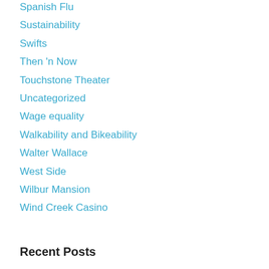Spanish Flu
Sustainability
Swifts
Then 'n Now
Touchstone Theater
Uncategorized
Wage equality
Walkability and Bikeability
Walter Wallace
West Side
Wilbur Mansion
Wind Creek Casino
Recent Posts